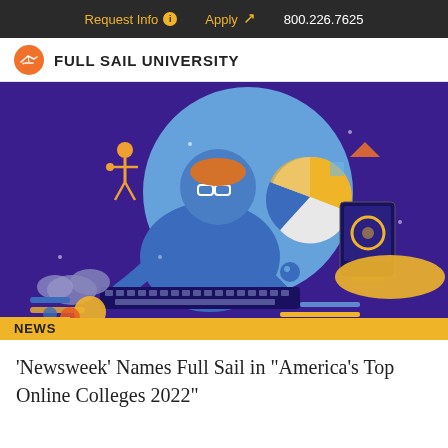Request Info  Apply  800.226.7625
[Figure (logo): Full Sail University logo: orange circle with white airplane silhouette, followed by bold text 'FULL SAIL UNIVERSITY']
[Figure (illustration): Illustrated graphic on dark purple background showing a person with glasses working at a computer, surrounded by colorful digital media elements including a 3D figure, pie chart, monitor, clouds, and geometric shapes in blue, orange, and yellow tones.]
NEWS
'Newsweek' Names Full Sail in "America's Top Online Colleges 2022"